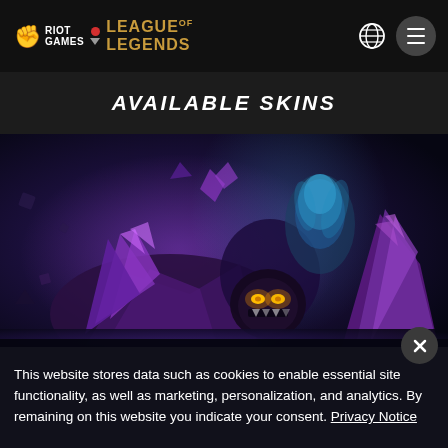Riot Games | League of Legends
AVAILABLE SKINS
[Figure (illustration): League of Legends champion skin artwork featuring a large dark purple crystal golem monster with glowing yellow eyes and smaller crystal creature in background with blue-teal ethereal figure]
This website stores data such as cookies to enable essential site functionality, as well as marketing, personalization, and analytics. By remaining on this website you indicate your consent. Privacy Notice